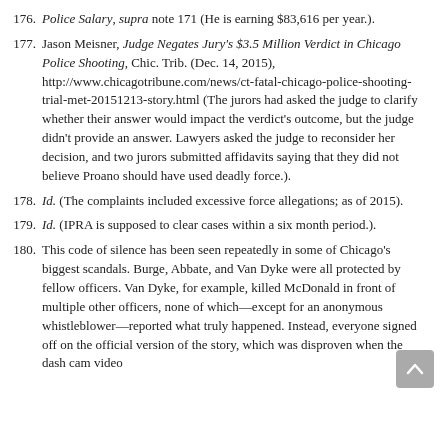176. Police Salary, supra note 171 (He is earning $83,616 per year.).
177. Jason Meisner, Judge Negates Jury's $3.5 Million Verdict in Chicago Police Shooting, Chic. Trib. (Dec. 14, 2015), http://www.chicagotribune.com/news/ct-fatal-chicago-police-shooting-trial-met-20151213-story.html (The jurors had asked the judge to clarify whether their answer would impact the verdict's outcome, but the judge didn't provide an answer. Lawyers asked the judge to reconsider her decision, and two jurors submitted affidavits saying that they did not believe Proano should have used deadly force.).
178. Id. (The complaints included excessive force allegations; as of 2015).
179. Id. (IPRA is supposed to clear cases within a six month period.).
180. This code of silence has been seen repeatedly in some of Chicago's biggest scandals. Burge, Abbate, and Van Dyke were all protected by fellow officers. Van Dyke, for example, killed McDonald in front of multiple other officers, none of which—except for an anonymous whistleblower—reported what truly happened. Instead, everyone signed off on the official version of the story, which was disproven when the dash cam video